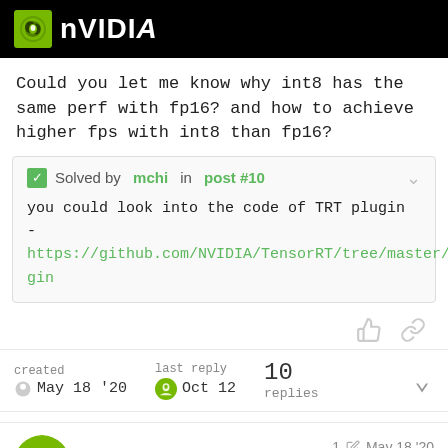[Figure (logo): NVIDIA logo with green eye icon on black background header bar]
Could you let me know why int8 has the same perf with fp16? and how to achieve higher fps with int8 than fp16?
✓ Solved by mchi in post #10
you could look into the code of TRT plugin -
https://github.com/NVIDIA/TensorRT/tree/master/plugin
created
May 18 '20
last reply
Oct 12
10
replies
mchi
Moderator
1
May 18 '20
1/11